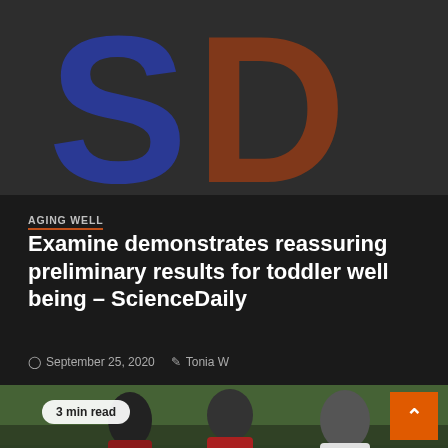[Figure (logo): ScienceDaily logo: large blue 'S' and brown-orange 'D' letters on dark gray background]
AGING WELL
Examine demonstrates reassuring preliminary results for toddler well being – ScienceDaily
September 25, 2020   Tonia W
[Figure (photo): Students wearing red shirts and face masks walking outdoors, with a '3 min read' badge overlay in bottom left and an orange scroll-up button in top right]